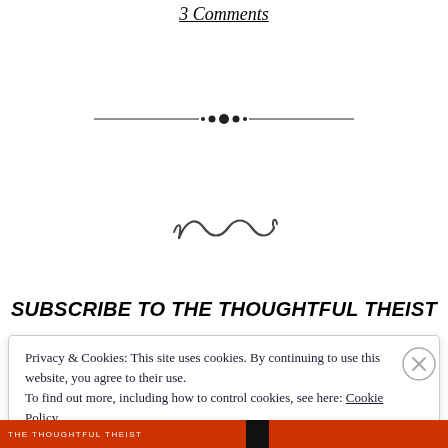3 Comments
[Figure (illustration): Decorative horizontal divider ornament with a central diamond/dot cluster and thin lines extending to each side]
[Figure (illustration): Decorative curling swirl/squiggle ornament in script style]
SUBSCRIBE TO THE THOUGHTFUL THEIST
Privacy & Cookies: This site uses cookies. By continuing to use this website, you agree to their use.
To find out more, including how to control cookies, see here: Cookie Policy
Close and accept